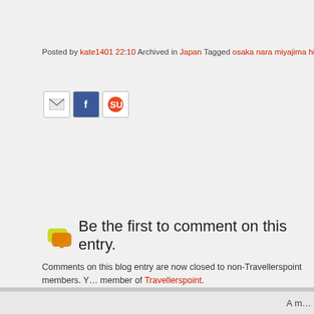Posted by kate1401 22:10 Archived in Japan Tagged osaka nara miyajima hiroshima koya osaka_c…
[Figure (other): Row of share icons: email, Facebook, StumbleUpon]
Be the first to comment on this entry.
Comments on this blog entry are now closed to non-Travellerspoint members. Y… member of Travellerspoint.
Login
A m…